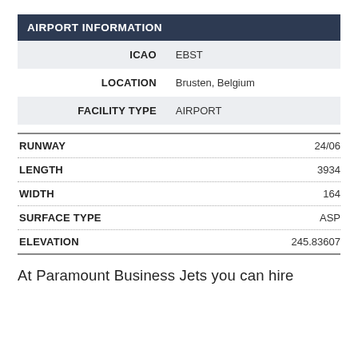| AIRPORT INFORMATION |  |
| --- | --- |
| ICAO | EBST |
| LOCATION | Brusten, Belgium |
| FACILITY TYPE | AIRPORT |
| RUNWAY | 24/06 |
| LENGTH | 3934 |
| WIDTH | 164 |
| SURFACE TYPE | ASP |
| ELEVATION | 245.83607 |
At Paramount Business Jets you can hire